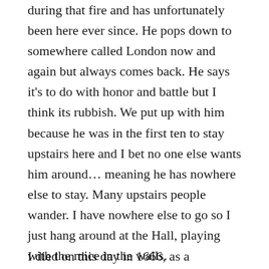during that fire and has unfortunately been here ever since. He pops down to somewhere called London now and again but always comes back. He says it's to do with honor and battle but I think its rubbish. We put up with him because he was in the first ten to stay upstairs here and I bet no one else wants him around… meaning he has nowhere else to stay. Many upstairs people wander. I have nowhere else to go so I just hang around at the Hall, playing with the mice in the walls.
I died on this day in 1666, as a...